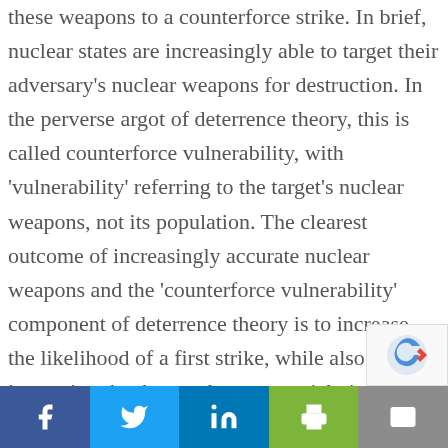these weapons to a counterforce strike. In brief, nuclear states are increasingly able to target their adversary's nuclear weapons for destruction. In the perverse argot of deterrence theory, this is called counterforce vulnerability, with 'vulnerability' referring to the target's nuclear weapons, not its population. The clearest outcome of increasingly accurate nuclear weapons and the 'counterforce vulnerability' component of deterrence theory is to increase the likelihood of a first strike, while also increasing the danger that a potential victim, fearing such an event, might be tempted to pre-empt with its own first strike. The resulting situation – in which each side perceives a possible advantage in striking first – is dangerously unstable.